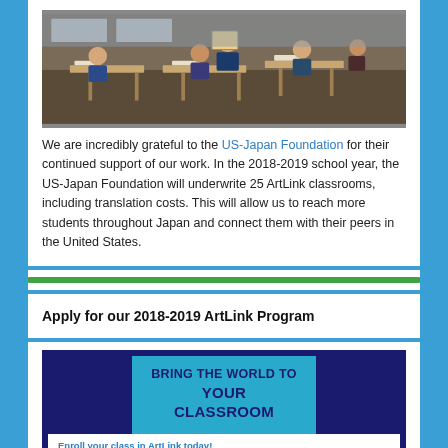[Figure (photo): Classroom photo showing students seated at desks, one student holding up a drawing or artwork.]
We are incredibly grateful to the US-Japan Foundation for their continued support of our work. In the 2018-2019 school year, the US-Japan Foundation will underwrite 25 ArtLink classrooms, including translation costs. This will allow us to reach more students throughout Japan and connect them with their peers in the United States.
Apply for our 2018-2019 ArtLink Program
[Figure (infographic): Promotional banner with dark blue border and teal center reading 'BRING THE WORLD TO YOUR CLASSROOM'. Below reads 'Enroll your class in ArtLink today!' and a partial description of the ArtLink program.]